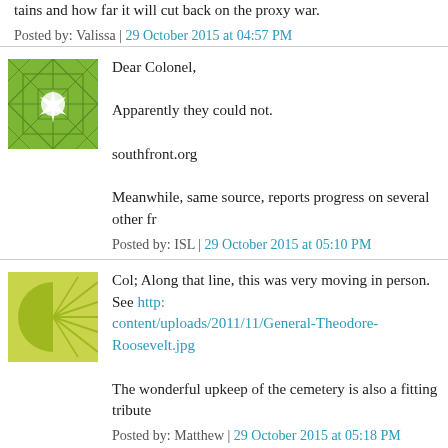tains and how far it will cut back on the proxy war.
Posted by: Valissa | 29 October 2015 at 04:57 PM
[Figure (illustration): Green geometric avatar with web/diamond pattern and white starburst center]
Dear Colonel,

Apparently they could not.

southfront.org

Meanwhile, same source, reports progress on several other fr
Posted by: ISL | 29 October 2015 at 05:10 PM
[Figure (illustration): Yellow-green geometric avatar with semicircle and ray burst pattern]
Col; Along that line, this was very moving in person. See http: content/uploads/2011/11/General-Theodore-Roosevelt.jpg

The wonderful upkeep of the cemetery is also a fitting tribute
Posted by: Matthew | 29 October 2015 at 05:18 PM
[Figure (illustration): Orange geometric avatar with diagonal line pattern]
My source was speculating that they were assassinated (by killed at the front. Either way it seems to have stopped.
Posted by: LondonBob | 29 October 2015 at 05:29 PM